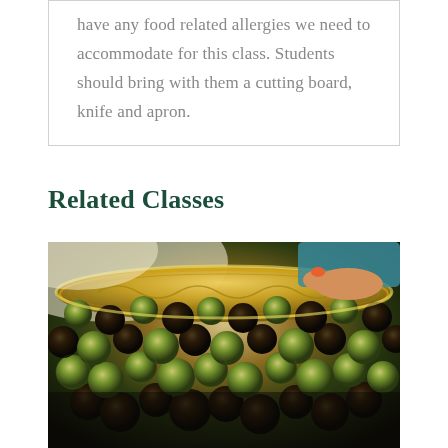have any food related allergies we need to accommodate for this class. Students should bring with them a cutting board, knife and apron.
Related Classes
[Figure (photo): Close-up photo of a large decorative golden bowl filled with many small round food balls (truffles or meatballs) coated in green herbs/spices and dark chocolate, held by a person with orange-painted fingernails wearing a teal garment]